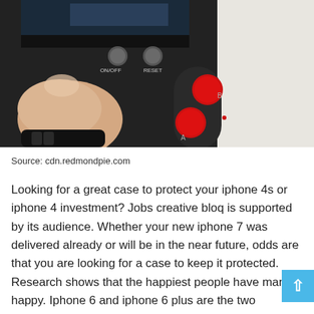[Figure (photo): Close-up photo of a game controller case for iPhone showing red A and B buttons, ON/OFF and RESET labels, and a finger pressing near the controls. Dark black device against light background.]
Source: cdn.redmondpie.com
Looking for a great case to protect your iphone 4s or iphone 4 investment? Jobs creative bloq is supported by its audience. Whether your new iphone 7 was delivered already or will be in the near future, odds are that you are looking for a case to keep it protected. Research shows that the happiest people have many happy. Iphone 6 and iphone 6 plus are the two...